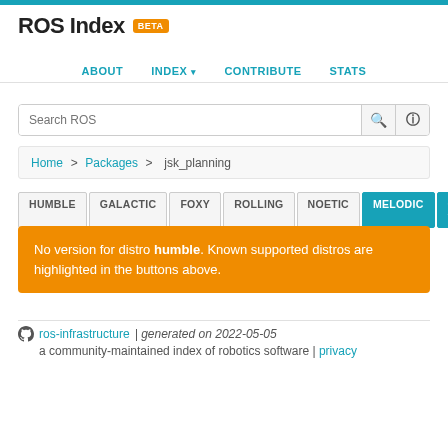ROS Index BETA
ABOUT | INDEX | CONTRIBUTE | STATS
Search ROS
Home > Packages > jsk_planning
HUMBLE | GALACTIC | FOXY | ROLLING | NOETIC | MELODIC | OLDER
No version for distro humble. Known supported distros are highlighted in the buttons above.
ros-infrastructure | generated on 2022-05-05
a community-maintained index of robotics software | privacy